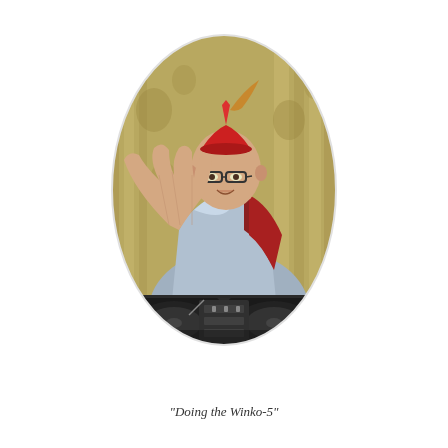[Figure (photo): Oval-framed photograph of a man wearing a silver/metallic jacket and a red party hat, waving his hand at the camera. He is standing behind DJ turntables/equipment. The background shows draped curtains.]
"Doing the Winko-5"